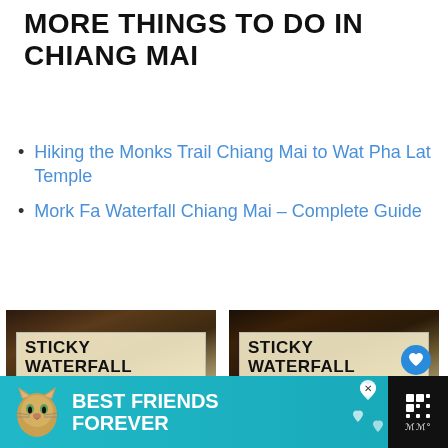MORE THINGS TO DO IN CHIANG MAI
Hiking the Monks Trail Chiang Mai to Wat Pha Lat Temple
Mork Fa Waterfall Chiang Mai – Complete Guide
[Figure (photo): Sticky Waterfall Chiang Mai promotional image thumbnail]
[Figure (photo): Sticky Waterfall Chiang Mai promotional image thumbnail with heart and share icons]
[Figure (photo): Advertisement banner: Best Friends Forever with cat illustration]